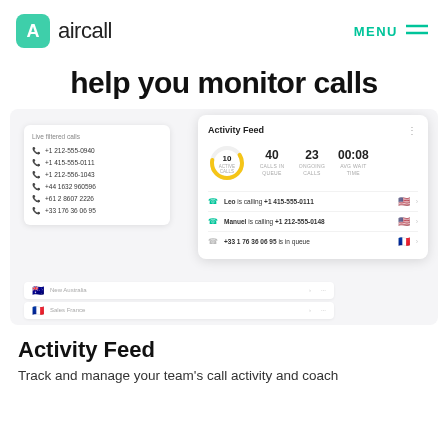[Figure (logo): Aircall logo with green rounded square icon and 'aircall' wordmark, plus MENU hamburger on the right]
help you monitor calls
[Figure (screenshot): UI screenshot showing Aircall Activity Feed and Live filtered calls panels with call entries including Leo calling +1 415-555-0111, Manuel calling +1 212-555-0148, +33 1 76 36 06 95 in queue, and stats: 10 active calls, 40 calls in queue, 23 ongoing calls, 00:08 average wait time]
Activity Feed
Track and manage your team's call activity and coach